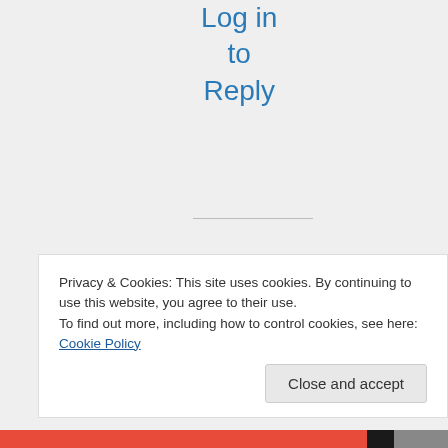Log in to Reply
[Figure (illustration): Small spinner/loading icon with magnifying glass]
Privacy & Cookies: This site uses cookies. By continuing to use this website, you agree to their use.
To find out more, including how to control cookies, see here: Cookie Policy
Close and accept